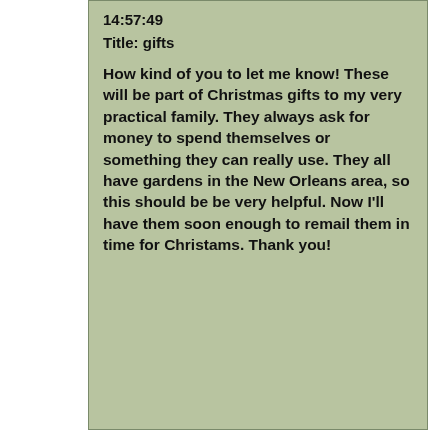14:57:49
Title: gifts
How kind of you to let me know! These will be part of Christmas gifts to my very practical family. They always ask for money to spend themselves or something they can really use. They all have gardens in the New Orleans area, so this should be be very helpful. Now I'll have them soon enough to remail them in time for Christams. Thank you!